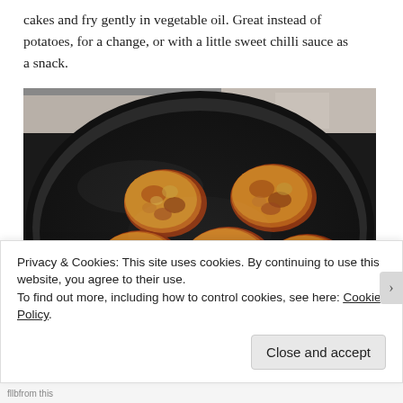cakes and fry gently in vegetable oil. Great instead of potatoes, for a change, or with a little sweet chilli sauce as a snack.
[Figure (photo): Six golden-brown vegetable/courgette fritters/cakes frying in a large black non-stick frying pan, viewed from above.]
Privacy & Cookies: This site uses cookies. By continuing to use this website, you agree to their use.
To find out more, including how to control cookies, see here: Cookie Policy